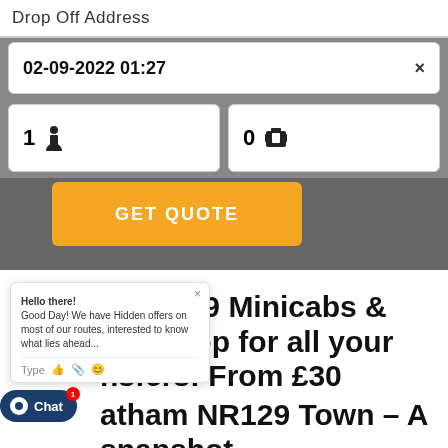Drop Off Address
02-09-2022 01:27  ×
1 [person icon]
0 [luggage icon]
GET QUOTE
Hello there! Good Day! We have Hidden offers on most of our routes, interested to know what lies ahead?
Type [icons]
Chat
n NR129 Minicabs & One stop for all your nsfers! From £30
atham NR129 Town – A snapshot